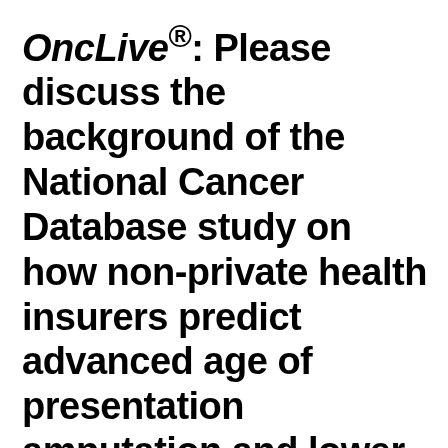OncLive®: Please discuss the background of the National Cancer Database study on how non-private health insurers predict advanced age of presentation amputation and lower extremity in patients with high-grade bone sarcoma.